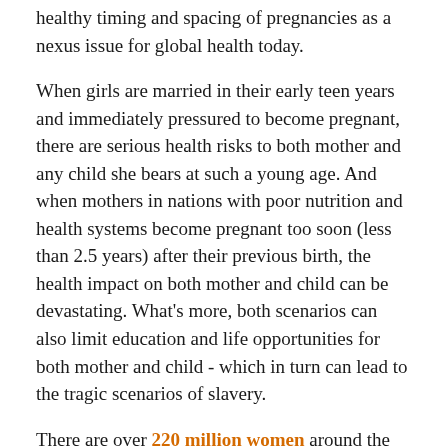healthy timing and spacing of pregnancies as a nexus issue for global health today.
When girls are married in their early teen years and immediately pressured to become pregnant, there are serious health risks to both mother and any child she bears at such a young age. And when mothers in nations with poor nutrition and health systems become pregnant too soon (less than 2.5 years) after their previous birth, the health impact on both mother and child can be devastating. What's more, both scenarios can also limit education and life opportunities for both mother and child - which in turn can lead to the tragic scenarios of slavery.
There are over 220 million women around the world who say they want to delay their next pregnancy until a more opportune time, but they don't have the education, or the access to contraceptives or fertility-awareness methods, to do so.
One way our Faith-Based Coalition supports these women is by championing the protection of the U.S. programs for